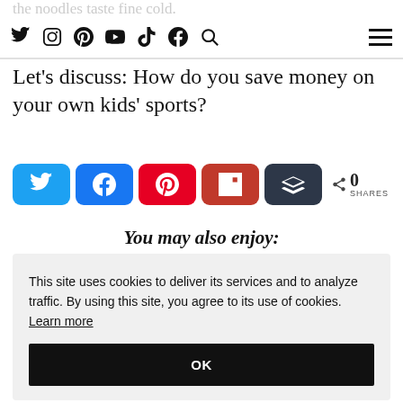the noodles taste fine cold.
[Nav icons: Twitter, Instagram, Pinterest, YouTube, TikTok, Facebook, Search, Hamburger menu]
Let’s discuss: How do you save money on your own kids’ sports?
[Share buttons: Twitter, Facebook, Pinterest, Flipboard, Buffer] < 0 SHARES
You may also enjoy:
This site uses cookies to deliver its services and to analyze traffic. By using this site, you agree to its use of cookies. Learn more
OK